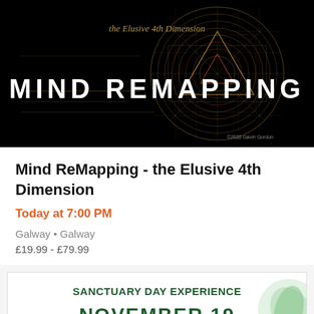[Figure (illustration): Mind ReMapping event banner with black background, golden geometric mandala/wheel diagram, text 'the Elusive 4th Dimension' in cursive at top center, large white bold text 'MIND REMAPPING' across center, and small copyright text '©2020 Gavin Gordon' at bottom right.]
Mind ReMapping - the Elusive 4th Dimension
Today at 7:00 PM
Galway • Galway
£19.99 - £79.99
SANCTUARY DAY EXPERIENCE
NOVEMBER 19